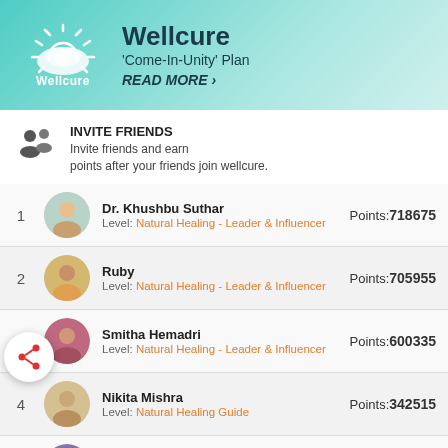[Figure (logo): Wellcure logo with sun rays and text 'Wellcure' below]
Wellcure
'Come-In-Unity' Plan
READ MORE >
INVITE FRIENDS
Invite friends and earn points after your friends join wellcure.
| Rank | Name | Level | Points |
| --- | --- | --- | --- |
| 1 | Dr. Khushbu Suthar | Natural Healing - Leader & Influencer | 718675 |
| 2 | Ruby | Natural Healing - Leader & Influencer | 705955 |
| 3 | Smitha Hemadri | Natural Healing - Leader & Influencer | 600335 |
| 4 | Nikita Mishra | Natural Healing Guide | 342515 |
| 5 | Hema | Natural Healing Guide | 305045 |